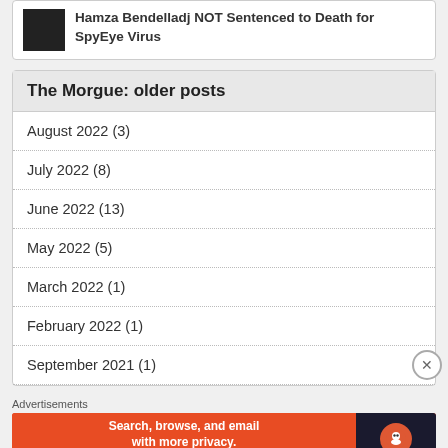Hamza Bendelladj NOT Sentenced to Death for SpyEye Virus
The Morgue: older posts
August 2022 (3)
July 2022 (8)
June 2022 (13)
May 2022 (5)
March 2022 (1)
February 2022 (1)
September 2021 (1)
Advertisements
[Figure (screenshot): DuckDuckGo advertisement banner: Search, browse, and email with more privacy. All in One Free App]